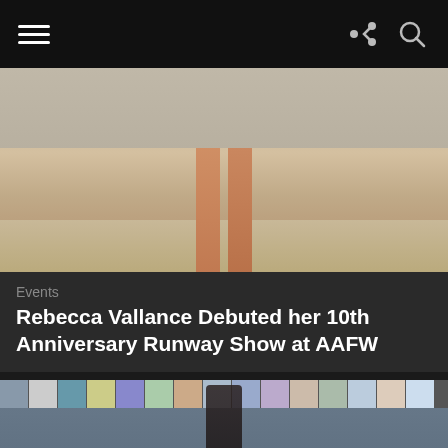[Figure (photo): Fashion runway photo showing legs of a model walking, cropped at thigh level, with wooden floor backdrop]
Events
Rebecca Vallance Debuted her 10th Anniversary Runway Show at AAFW
[Figure (photo): Fashion runway show photo: a model in a dark floral maxi dress walks the runway with a large audience seated on both sides, colorful tiled wall in background at AAFW]